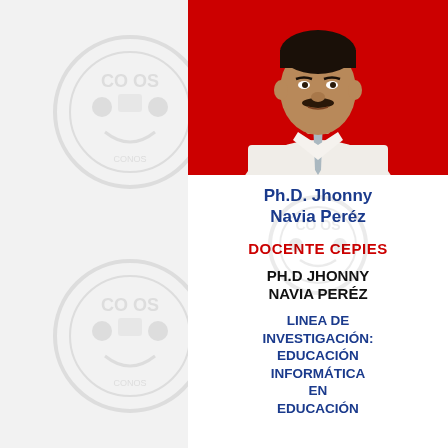[Figure (photo): Portrait photo of a man in a white shirt and tie against a red background]
Ph.D. Jhonny Navia Peréz
DOCENTE CEPIES
PH.D JHONNY NAVIA PERÉZ
LINEA DE INVESTIGACIÓN: EDUCACIÓN INFORMÁTICA EN EDUCACIÓN